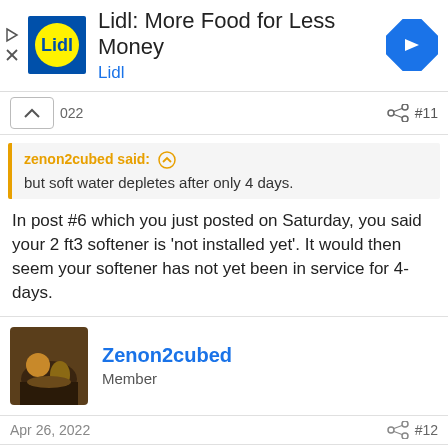[Figure (logo): Lidl advertisement banner with Lidl logo, text 'Lidl: More Food for Less Money', 'Lidl' subtitle, and navigation arrow icon]
022  #11
zenon2cubed said: ↑
but soft water depletes after only 4 days.
In post #6 which you just posted on Saturday, you said your 2 ft3 softener is 'not installed yet'. It would then seem your softener has not yet been in service for 4-days.
[Figure (photo): User avatar photo showing coffee being poured]
Zenon2cubed
Member
Apr 26, 2022  #12
Correct. I'm referring to the original poster.
The new softener I have purchased but not yet installed looks to be almost exactly the same, so I'm very interested to see what